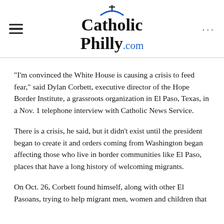CatholicPhilly.com
“I’m convinced the White House is causing a crisis to feed fear,” said Dylan Corbett, executive director of the Hope Border Institute, a grassroots organization in El Paso, Texas, in a Nov. 1 telephone interview with Catholic News Service.
There is a crisis, he said, but it didn’t exist until the president began to create it and orders coming from Washington began affecting those who live in border communities like El Paso, places that have a long history of welcoming migrants.
On Oct. 26, Corbett found himself, along with other El Pasoans, trying to help migrant men, women and children that